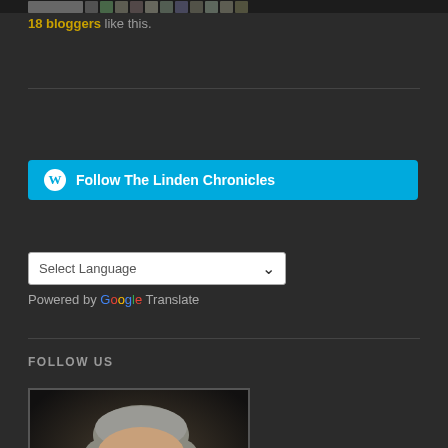[Figure (photo): Row of blogger avatar thumbnails at top of page]
18 bloggers like this.
[Figure (other): Follow The Linden Chronicles button with WordPress icon on cyan/blue background]
[Figure (other): Select Language dropdown widget]
Powered by Google Translate
FOLLOW US
[Figure (photo): Professional headshot portrait of a middle-aged man with grey hair against a dark background]